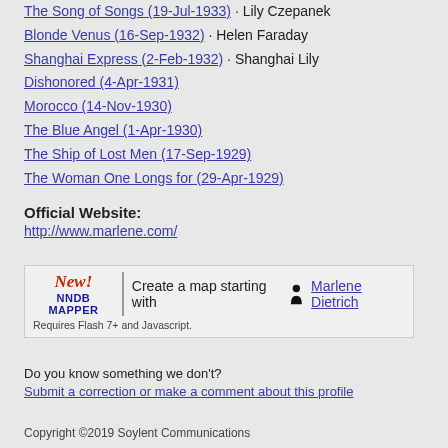The Song of Songs (19-Jul-1933) · Lily Czepanek
Blonde Venus (16-Sep-1932) · Helen Faraday
Shanghai Express (2-Feb-1932) · Shanghai Lily
Dishonored (4-Apr-1931)
Morocco (14-Nov-1930)
The Blue Angel (1-Apr-1930)
The Ship of Lost Men (17-Sep-1929)
The Woman One Longs for (29-Apr-1929)
Official Website:
http://www.marlene.com/
[Figure (infographic): NNDB Mapper promotional banner: New! NNDB MAPPER | Create a map starting with [person icon] Marlene Dietrich. Requires Flash 7+ and Javascript.]
Do you know something we don't?
Submit a correction or make a comment about this profile
Copyright ©2019 Soylent Communications